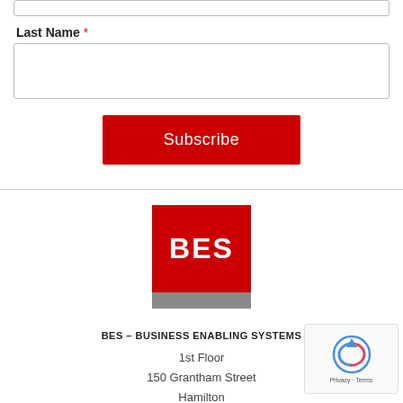Last Name *
Subscribe
[Figure (logo): BES – Business Enabling Systems logo: red square with white bold text 'BES' and gray bar at bottom]
BES – BUSINESS ENABLING SYSTEMS
1st Floor
150 Grantham Street
Hamilton
New Zealand